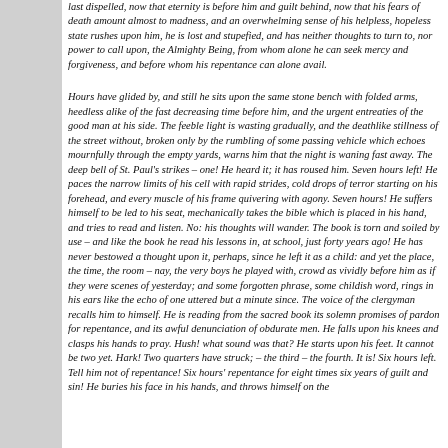last dispelled, now that eternity is before him and guilt behind, now that his fears of death amount almost to madness, and an overwhelming sense of his helpless, hopeless state rushes upon him, he is lost and stupefied, and has neither thoughts to turn to, nor power to call upon, the Almighty Being, from whom alone he can seek mercy and forgiveness, and before whom his repentance can alone avail.
Hours have glided by, and still he sits upon the same stone bench with folded arms, heedless alike of the fast decreasing time before him, and the urgent entreaties of the good man at his side. The feeble light is wasting gradually, and the deathlike stillness of the street without, broken only by the rumbling of some passing vehicle which echoes mournfully through the empty yards, warns him that the night is waning fast away. The deep bell of St. Paul's strikes – one! He heard it; it has roused him. Seven hours left! He paces the narrow limits of his cell with rapid strides, cold drops of terror starting on his forehead, and every muscle of his frame quivering with agony. Seven hours! He suffers himself to be led to his seat, mechanically takes the bible which is placed in his hand, and tries to read and listen. No: his thoughts will wander. The book is torn and soiled by use – and like the book he read his lessons in, at school, just forty years ago! He has never bestowed a thought upon it, perhaps, since he left it as a child: and yet the place, the time, the room – nay, the very boys he played with, crowd as vividly before him as if they were scenes of yesterday; and some forgotten phrase, some childish word, rings in his ears like the echo of one uttered but a minute since. The voice of the clergyman recalls him to himself. He is reading from the sacred book its solemn promises of pardon for repentance, and its awful denunciation of obdurate men. He falls upon his knees and clasps his hands to pray. Hush! what sound was that? He starts upon his feet. It cannot be two yet. Hark! Two quarters have struck; – the third – the fourth. It is! Six hours left. Tell him not of repentance! Six hours' repentance for eight times six years of guilt and sin! He buries his face in his hands, and throws himself on the